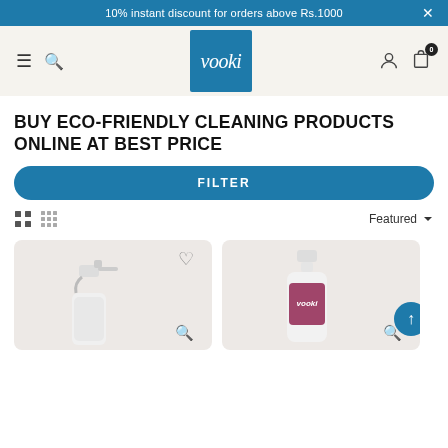10% instant discount for orders above Rs.1000
[Figure (logo): Vooki brand logo — white italic text on blue square background]
BUY ECO-FRIENDLY CLEANING PRODUCTS ONLINE AT BEST PRICE
FILTER
Featured
[Figure (photo): Spray bottle cleaning product on light grey background with heart and zoom icons]
[Figure (photo): Vooki bottle cleaning product on light grey background with zoom icon and back-to-top button]